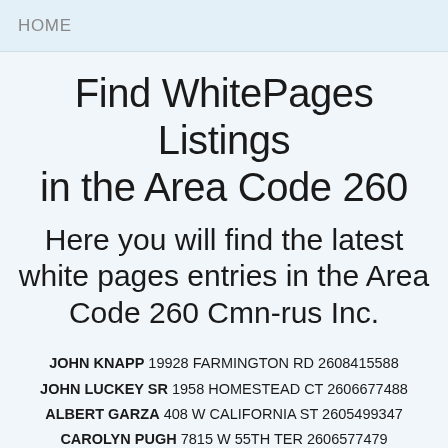HOME
Find WhitePages Listings in the Area Code 260
Here you will find the latest white pages entries in the Area Code 260 Cmn-rus Inc.
JOHN KNAPP 19928 FARMINGTON RD 2608415588
JOHN LUCKEY SR 1958 HOMESTEAD CT 2606677488
ALBERT GARZA 408 W CALIFORNIA ST 2605499347
CAROLYN PUGH 7815 W 55TH TER 2606577479